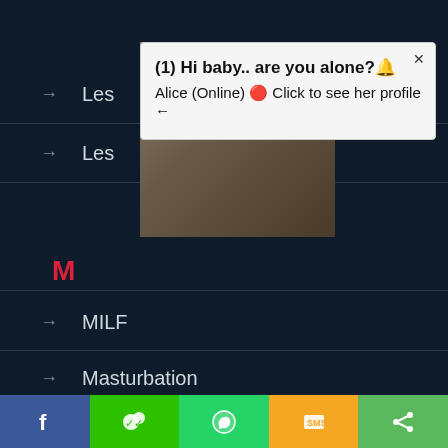Le... (partially visible)
Le... (partially visible)
[Figure (screenshot): Popup notification showing a woman in bikini with text '(1) Hi baby.. are you alone?' and 'Alice (Online) Click to see her profile']
M
MILF
Masturbation
Mature
Mature Amateur
Mature Anal
Mature Lesbian